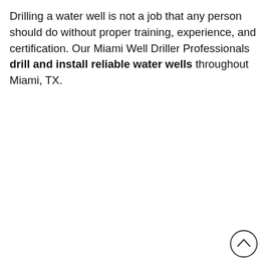Drilling a water well is not a job that any person should do without proper training, experience, and certification. Our Miami Well Driller Professionals drill and install reliable water wells throughout Miami, TX.
[Figure (other): A circular scroll-to-top button with an upward-pointing chevron arrow, positioned in the bottom-right corner of the page.]